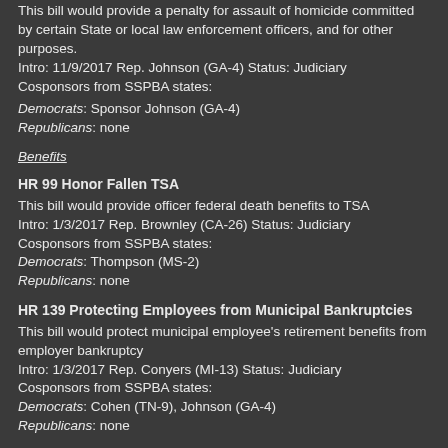This bill would provide a penalty for assault of homicide committed by certain State or local law enforcement officers, and for other purposes. Intro: 11/9/2017 Rep. Johnson (GA-4) Status: Judiciary Cosponsors from SSPBA states:
Democrats: Sponsor Johnson (GA-4)
Republicans: none
Benefits
HR 99 Honor Fallen TSA
This bill would provide officer federal death benefits to TSA
Intro: 1/3/2017 Rep. Brownley (CA-26) Status: Judiciary
Cosponsors from SSPBA states:
Democrats: Thompson (MS-2)
Republicans: none
HR 139 Protecting Employees from Municipal Bankruptcies
This bill would protect municipal employee's retirement benefits from employer bankruptcy
Intro: 1/3/2017 Rep. Conyers (MI-13) Status: Judiciary
Cosponsors from SSPBA states:
Democrats: Cohen (TN-9), Johnson (GA-4)
Republicans: none
HR 320 Delay Mandatory Retirement US Capitol Police
This bill would give US Capitol Police the option to delay retirement.
Intro: 1/5/2017 Rep. Capuano (MA-7) Status: Oversight & Government